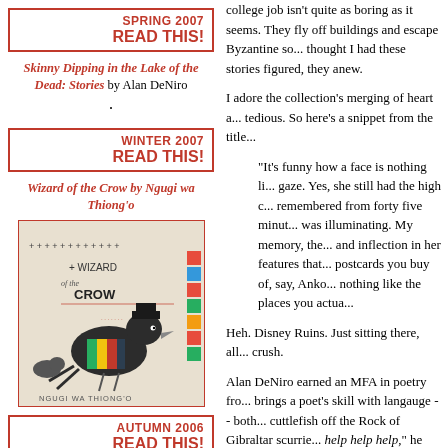SPRING 2007 READ THIS!
Skinny Dipping in the Lake of the Dead: Stories by Alan DeNiro
WINTER 2007 READ THIS!
Wizard of the Crow by Ngugi wa Thiong'o
[Figure (photo): Book cover of Wizard of the Crow by Ngugi wa Thiong'o, showing a crow/bird wearing a hat with colorful striped fabric, against a light background with cross/plus symbols.]
AUTUMN 2006 READ THIS!
college job isn't quite as boring as it seems. They fly off buildings and escape Byzantine so... thought I had these stories figured, they... anew.
I adore the collection's merging of heart a... tedious. So here's a snippet from the title...
"It's funny how a face is nothing li... gaze. Yes, she still had the high c... remembered from forty five minut... was illuminating. My memory, the... and inflection in her features that... postcards you buy of, say, Ankor... nothing like the places you actua...
Heh. Disney Ruins. Just sitting there, all... crush.
Alan DeNiro earned an MFA in poetry fro... brings a poet's skill with langauge -- both... cuttlefish off the Rock of Gibraltar scurrie... help help help," he writes in "Cuttlefish,"... because the word "cuttlefish" sounds so...
We'll be discussing the book and at leng...